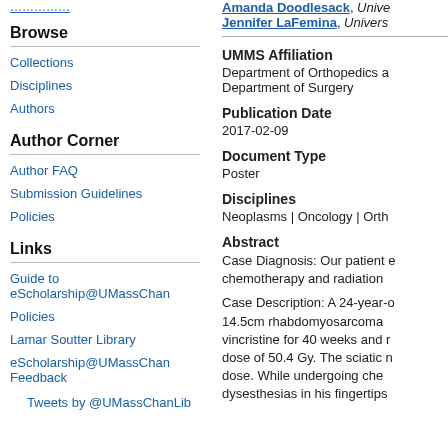Amanda Doodlesack, University ... Jennifer LaFemina, University...
Browse
Collections
Disciplines
Authors
Author Corner
Author FAQ
Submission Guidelines
Policies
Links
Guide to eScholarship@UMassChan
Policies
Lamar Soutter Library
eScholarship@UMassChan Feedback
Tweets by @UMassChanLib
UMMS Affiliation
Department of Orthopedics a... Department of Surgery
Publication Date
2017-02-09
Document Type
Poster
Disciplines
Neoplasms | Oncology | Orth...
Abstract
Case Diagnosis: Our patient e... chemotherapy and radiation
Case Description: A 24-year-o... 14.5cm rhabdomyosarcoma... vincristine for 40 weeks and r... dose of 50.4 Gy. The sciatic n... dose. While undergoing che... dysesthesias in his fingertips